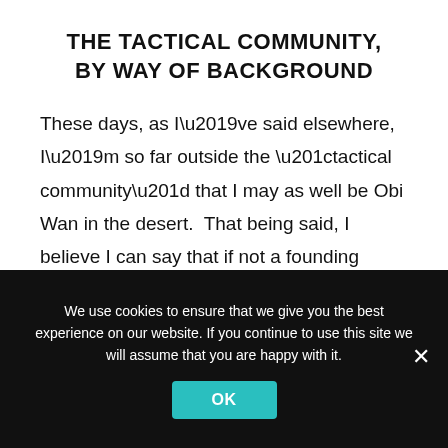THE TACTICAL COMMUNITY, BY WAY OF BACKGROUND
These days, as I’ve said elsewhere, I’m so far outside the “tactical community” that I may as well be Obi Wan in the desert.  That being said, I believe I can say that if not a founding member, certainly an early single digits membership card member in the beginnings of the “tactical community.”
We use cookies to ensure that we give you the best experience on our website. If you continue to use this site we will assume that you are happy with it.